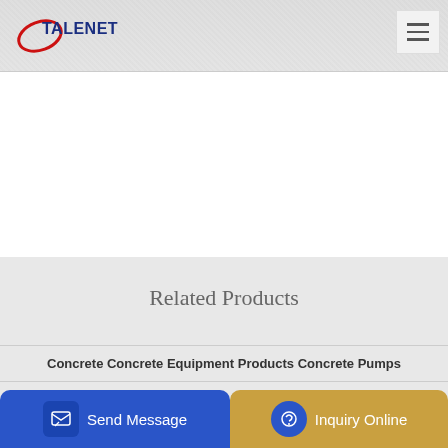[Figure (logo): TALENET company logo with blue text and red swoosh underline]
Related Products
Concrete Concrete Equipment Products Concrete Pumps
Jacking pump for concrete
concrete
Send Message | Inquiry Online